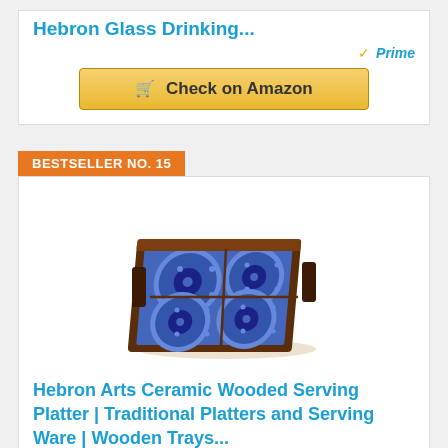Hebron Glass Drinking...
[Figure (other): Amazon Prime badge with checkmark]
[Figure (other): Check on Amazon button with cart icon]
BESTSELLER NO. 15
[Figure (photo): Hebron Arts Ceramic Wooded Serving Platter with blue decorative tile coasters in wooden tray]
Hebron Arts Ceramic Wooded Serving Platter | Traditional Platters and Serving Ware | Wooden Trays...
[Figure (other): Amazon Prime badge with checkmark]